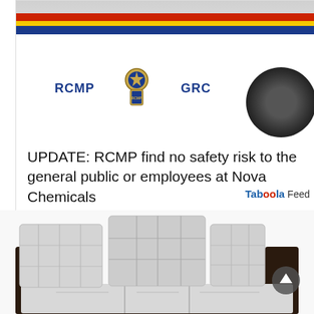[Figure (photo): RCMP police car with RCMP GRC logo and badge visible on the side door, with red, yellow and blue stripe along the top]
UPDATE: RCMP find no safety risk to the general public or employees at Nova Chemicals
[Figure (logo): Taboola Feed logo with 'oo' in red]
[Figure (photo): A grey and dark brown convertible sofa/couch with tufted cushions on a white background]